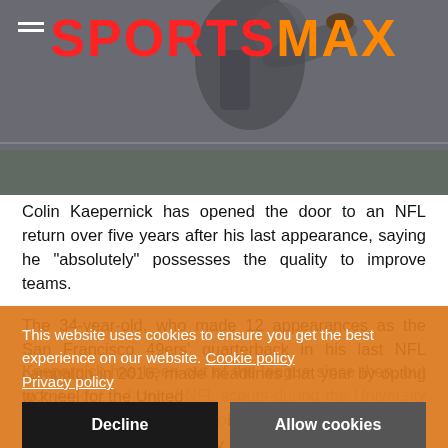[Figure (photo): Hero image showing Colin Kaepernick throwing a football, with the SportsMax logo overlay at the top. Background shows an athlete in motion on a field.]
SPORTSMAX
Colin Kaepernick has opened the door to an NFL return over five years after his last appearance, saying he "absolutely" possesses the quality to improve teams.
The 34-year-old, who made 12 appearances as the San Francisco 49ers' quarterback in his last NFL campaign in 2016, made headlines that year by opting to kneel for the United States' national anthem in protest against racial injustice and police brutality.
Kaepernick has been out of the league since then, but worked out in front of NFL scouts during the University of Michigan's spring game on Saturday.
Speaking to WXYZ Detroit, Kaepernick told potential suitors tha
This website uses cookies to ensure you get the best experience on our website. Cookie policy
Privacy policy
Decline
Allow cookies